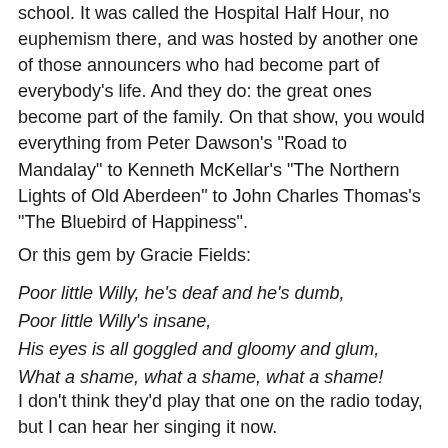school. It was called the Hospital Half Hour, no euphemism there, and was hosted by another one of those announcers who had become part of everybody's life. And they do: the great ones become part of the family. On that show, you would everything from Peter Dawson's "Road to Mandalay" to Kenneth McKellar's "The Northern Lights of Old Aberdeen" to John Charles Thomas's "The Bluebird of Happiness".
Or this gem by Gracie Fields:
Poor little Willy, he's deaf and he's dumb,
Poor little Willy's insane,
His eyes is all goggled and gloomy and glum,
What a shame, what a shame, what a shame!
I don't think they'd play that one on the radio today, but I can hear her singing it now.